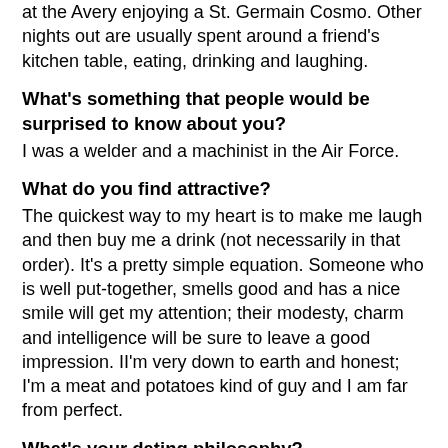at the Avery enjoying a St. Germain Cosmo. Other nights out are usually spent around a friend's kitchen table, eating, drinking and laughing.
What's something that people would be surprised to know about you?
I was a welder and a machinist in the Air Force.
What do you find attractive?
The quickest way to my heart is to make me laugh and then buy me a drink (not necessarily in that order). It's a pretty simple equation. Someone who is well put-together, smells good and has a nice smile will get my attention; their modesty, charm and intelligence will be sure to leave a good impression. II'm very down to earth and honest; I'm a meat and potatoes kind of guy and I am far from perfect.
What's your dating philosophy?
It's difficult putting yourself out there, facing rejection or even worse, being the one who is not interested. We've